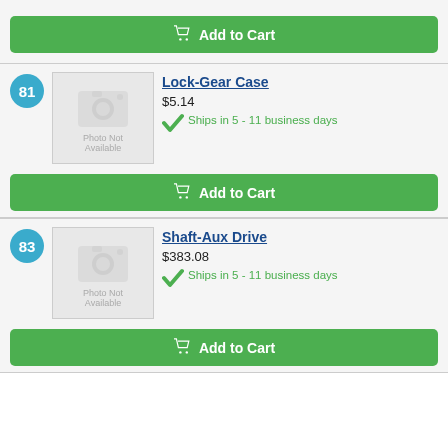[Figure (other): Add to Cart button (green) at top of page for previous product]
81
[Figure (photo): Photo Not Available placeholder image for Lock-Gear Case]
Lock-Gear Case
$5.14
Ships in 5 - 11 business days
[Figure (other): Add to Cart button (green) for Lock-Gear Case]
83
[Figure (photo): Photo Not Available placeholder image for Shaft-Aux Drive]
Shaft-Aux Drive
$383.08
Ships in 5 - 11 business days
[Figure (other): Add to Cart button (green) for Shaft-Aux Drive]